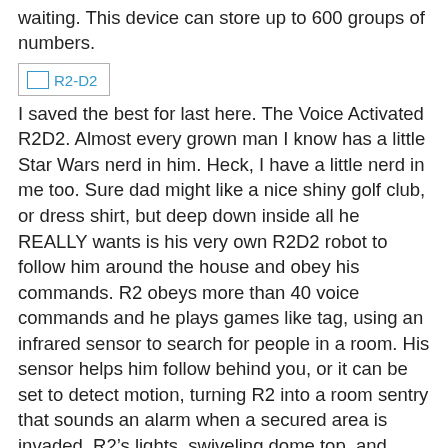waiting. This device can store up to 600 groups of numbers.
[Figure (photo): Placeholder image labeled R2-D2]
I saved the best for last here. The Voice Activated R2D2. Almost every grown man I know has a little Star Wars nerd in him. Heck, I have a little nerd in me too. Sure dad might like a nice shiny golf club, or dress shirt, but deep down inside all he REALLY wants is his very own R2D2 robot to follow him around the house and obey his commands. R2 obeys more than 40 voice commands and he plays games like tag, using an infrared sensor to search for people in a room. His sensor helps him follow behind you, or it can be set to detect motion, turning R2 into a room sentry that sounds an alarm when a secured area is invaded. R2’s lights, swiveling dome top, and distinctive happy and sad sounds faithfully mimic the real thing, right down to his occasional “bad mood.” R2 can also replay sounds and dialog from Star Wars movies, answer yes-or-no questions, and dance while playing the famed cantina music. Enough said.
[Figure (logo): Aspinal of London logo placeholder]
Now on to more classy gifts for the father with a refined taste. Aspinal of London is a great retailer for the man who